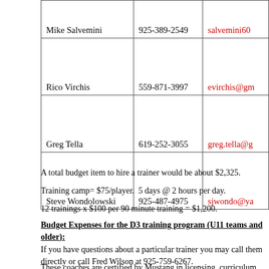| Name | Phone | Email |
| --- | --- | --- |
| Mike Salvemini | 925-389-2549 | salvemini60... |
| Rico Virchis | 559-871-3997 | evirchis@gm... |
| Greg Tella | 619-252-3055 | greg.tella@g... |
| Steve Wondolowski | 925-487-4975 | sjwondo@ya... |
A total budget item to hire a trainer would be about $2,325.
Training camp= $75/player.  5 days @ 2 hours per day.
12 trainings x $100 per 90 minute training = $1,200.
Budget Expenses for the D3 training program (U11 teams and older):
If you have questions about a particular trainer you may call them directly or call Fred Wilson at 925-759-6267.
These coaches are certified by Mustang in licensing, curriculum